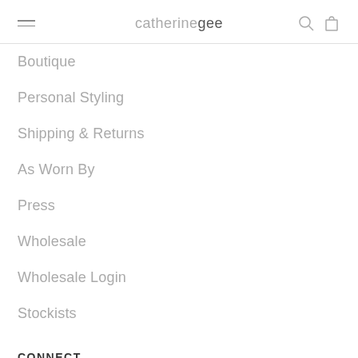catherinegee
Boutique
Personal Styling
Shipping & Returns
As Worn By
Press
Wholesale
Wholesale Login
Stockists
CONNECT
Catherine Gee Boutique